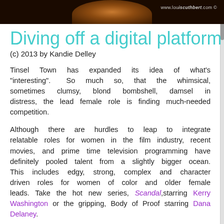[Figure (photo): Dark header image showing a person's face/portrait in silhouette against dark background, with website watermark www.louiscuthbert.com]
Diving off a digital platform
(c) 2013 by Kandie Delley
Tinsel Town has expanded its idea of what's “interesting”. So much so, that the whimsical, sometimes clumsy, blond bombshell, damsel in distress, the lead female role is finding much-needed competition.
Although there are hurdles to leap to integrate relatable roles for women in the film industry, recent movies, and prime time television programming have definitely pooled talent from a slightly bigger ocean. This includes edgy, strong, complex and character driven roles for women of color and older female leads. Take the hot new series, Scandal, starring Kerry Washington or the gripping, Body of Proof starring Dana Delaney.